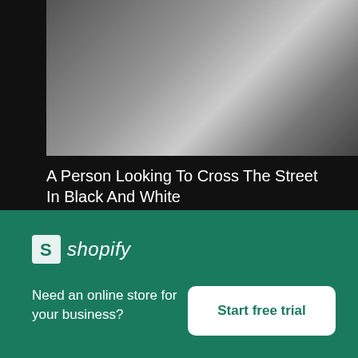[Figure (photo): Black and white photo of a person looking to cross the street, with a car and stacked items visible]
A Person Looking To Cross The Street In Black And White
[Figure (other): Download button: High resolution download with down arrow]
[Figure (photo): Thumbnail strip showing two street scene photos]
[Figure (logo): Shopify advertisement banner with logo, tagline and Start free trial button]
Need an online store for your business?
Start free trial